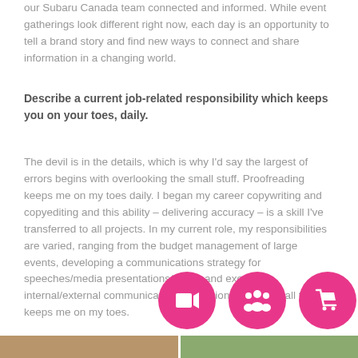our Subaru Canada team connected and informed. While event gatherings look different right now, each day is an opportunity to tell a brand story and find new ways to connect and share information in a changing world.
Describe a current job-related responsibility which keeps you on your toes, daily.
The devil is in the details, which is why I'd say the largest of errors begins with overlooking the small stuff. Proofreading keeps me on my toes daily. I began my career copywriting and copyediting and this ability – delivering accuracy – is a skill I've transferred to all projects. In my current role, my responsibilities are varied, ranging from the budget management of large events, developing a communications strategy for speeches/media presentations/news, and executing internal/external communications. Attention to detail in all things keeps me on my toes.
[Figure (illustration): Three pink circular icon buttons: video camera icon, group/people icon, and shopping cart icon]
[Figure (photo): Two thumbnail photos at the bottom of the page]